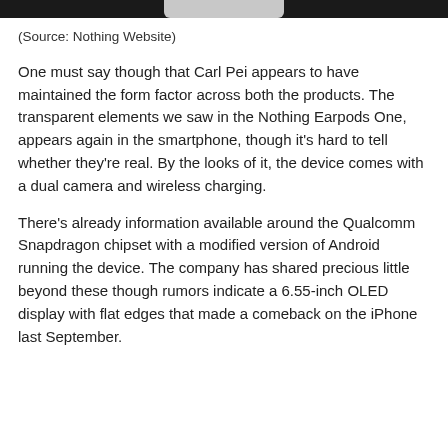[Figure (photo): Top portion of a product image (Nothing phone) with dark background and a light-colored element visible at top center]
(Source: Nothing Website)
One must say though that Carl Pei appears to have maintained the form factor across both the products. The transparent elements we saw in the Nothing Earpods One, appears again in the smartphone, though it's hard to tell whether they're real. By the looks of it, the device comes with a dual camera and wireless charging.
There's already information available around the Qualcomm Snapdragon chipset with a modified version of Android running the device. The company has shared precious little beyond these though rumors indicate a 6.55-inch OLED display with flat edges that made a comeback on the iPhone last September.